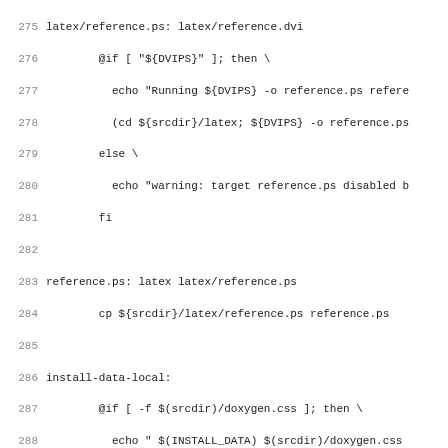Code listing lines 275-306 from a Makefile showing latex/reference.ps build rules, install-data-local, uninstall-local targets, and a comment about GNU make versions.